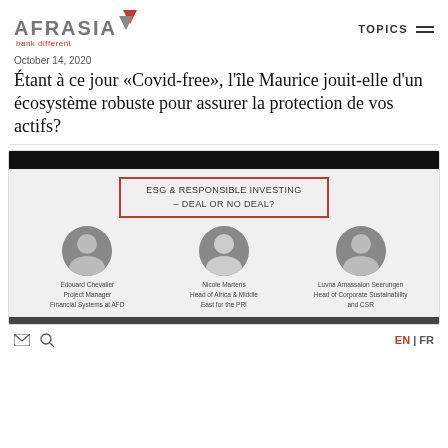AFRASIA bank different | TOPICS
October 14, 2020
Étant à ce jour «Covid-free», l'île Maurice jouit-elle d'un écosystème robuste pour assurer la protection de vos actifs?
[Figure (other): Panel image showing ESG & Responsible Investing – Deal or No Deal? with three speakers: Edouard Chevalier (Project Manager Financial Systems at AFD), Nicole Martens (Head of Africa & Middle East for the PRI), Luvna Arnassalon-Seerungen (Head of Corporate Sustainability and CSR)]
EN | FR